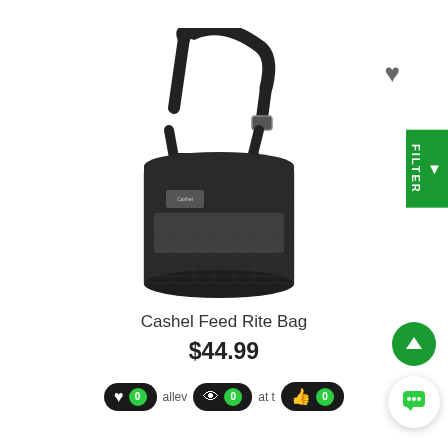[Figure (photo): Product photo of a Cashel Feed Rite Bag - a black cylindrical mesh feed bag with an adjustable shoulder strap and buckle]
Cashel Feed Rite Bag
$44.99
[Figure (infographic): Three action buttons: heart/like with count 0, eye/view with count 0, thumbs-up with count 0, on dark rounded pill backgrounds with green badges]